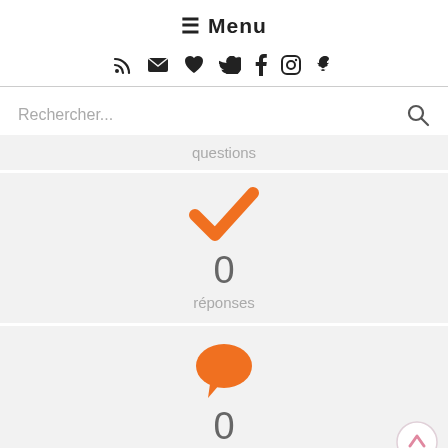☰ Menu
Social icons bar: RSS, Email, Heart, Twitter, Facebook, Instagram, Snapchat
Rechercher...
questions
[Figure (infographic): Orange checkmark icon above the number 0 and the label réponses]
0
réponses
[Figure (infographic): Orange speech bubble icon above the number 0 and the label commentaire question]
0
commentaire question